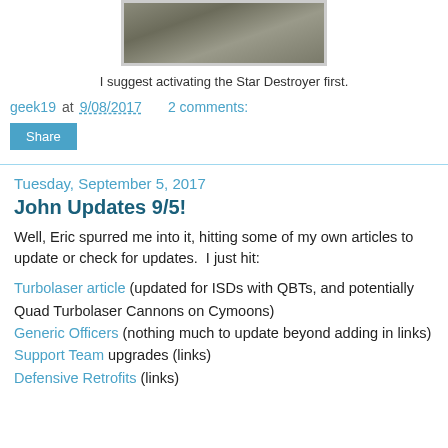[Figure (photo): Partial view of a planet or celestial body from space, showing surface texture and clouds, with a light gray border.]
I suggest activating the Star Destroyer first.
geek19 at 9/08/2017    2 comments:
Share
Tuesday, September 5, 2017
John Updates 9/5!
Well, Eric spurred me into it, hitting some of my own articles to update or check for updates.  I just hit:
Turbolaser article (updated for ISDs with QBTs, and potentially Quad Turbolaser Cannons on Cymoons)
Generic Officers (nothing much to update beyond adding in links)
Support Team upgrades (links)
Defensive Retrofits (links)